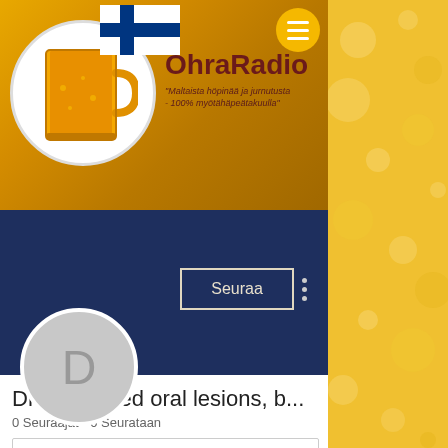[Figure (screenshot): OhraRadio app/website header banner with beer mug logo in white circle, Finnish flag, OhraRadio title text, and subtitle in Finnish. Dark navy navigation bar below with Seuraa (Follow) button and three-dot menu. Profile circle with letter D. User profile name 'Drug-induced oral lesions, b...' with follower counts.]
OhraRadio
'Maltaista höpinää ja jurnutusta - 100% myötähäpeätakuulla'
Seuraa
Drug-induced oral lesions, b...
0 Seuraajat • 0 Seurataan